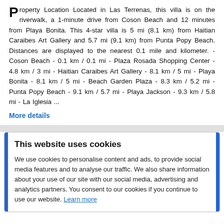Property Location Located in Las Terrenas, this villa is on the riverwalk, a 1-minute drive from Coson Beach and 12 minutes from Playa Bonita. This 4-star villa is 5 mi (8.1 km) from Haitian Caraibes Art Gallery and 5.7 mi (9.1 km) from Punta Popy Beach. Distances are displayed to the nearest 0.1 mile and kilometer. - Coson Beach - 0.1 km / 0.1 mi - Plaza Rosada Shopping Center - 4.8 km / 3 mi - Haitian Caraibes Art Gallery - 8.1 km / 5 mi - Playa Bonita - 8.1 km / 5 mi - Beach Garden Plaza - 8.3 km / 5.2 mi - Punta Popy Beach - 9.1 km / 5.7 mi - Playa Jackson - 9.3 km / 5.8 mi - La Iglesia ...
More details
This website uses cookies
We use cookies to personalise content and ads, to provide social media features and to analyse our traffic. We also share information about your use of our site with our social media, advertising and analytics partners. You consent to our cookies if you continue to use our website. Learn more